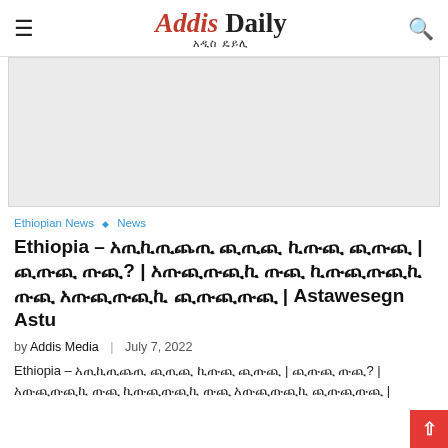Addis Daily | አዲስ ዴይሊ
[Figure (other): Gray advertisement placeholder box]
Ethiopian News ◇ News
Ethiopia – [Amharic text] | Astawesegn Astu
by Addis Media | July 7, 2022
Ethiopia – [Amharic text]